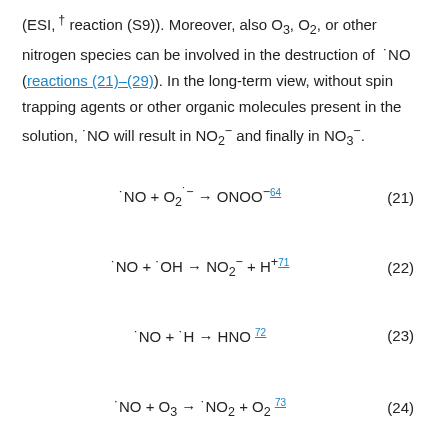(ESI,† reaction (S9)). Moreover, also O3, O2, or other nitrogen species can be involved in the destruction of ·NO (reactions (21)–(29)). In the long-term view, without spin trapping agents or other organic molecules present in the solution, ·NO will result in NO2– and finally in NO3–.